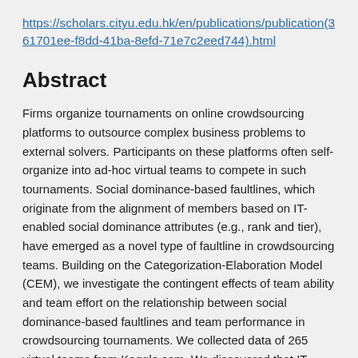https://scholars.cityu.edu.hk/en/publications/publication(361701ee-f8dd-41ba-8efd-71e7c2eed744).html
Abstract
Firms organize tournaments on online crowdsourcing platforms to outsource complex business problems to external solvers. Participants on these platforms often self-organize into ad-hoc virtual teams to compete in such tournaments. Social dominance-based faultlines, which originate from the alignment of members based on IT-enabled social dominance attributes (e.g., rank and tier), have emerged as a novel type of faultline in crowdsourcing teams. Building on the Categorization-Elaboration Model (CEM), we investigate the contingent effects of team ability and team effort on the relationship between social dominance-based faultlines and team performance in crowdsourcing tournaments. We collected data of 265 virtual teams from Kaggle.com. We discovered that IT-enabled social dominance-based faultlines positively influence the performance of teams with low ability and